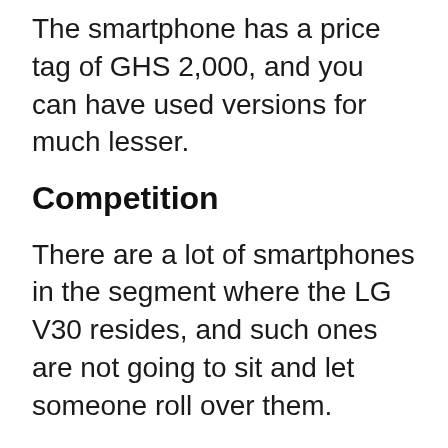The smartphone has a price tag of GHS 2,000, and you can have used versions for much lesser.
Competition
There are a lot of smartphones in the segment where the LG V30 resides, and such ones are not going to sit and let someone roll over them.
The LG V30 faces some fierce competition from smartphones made by companies that are already popular